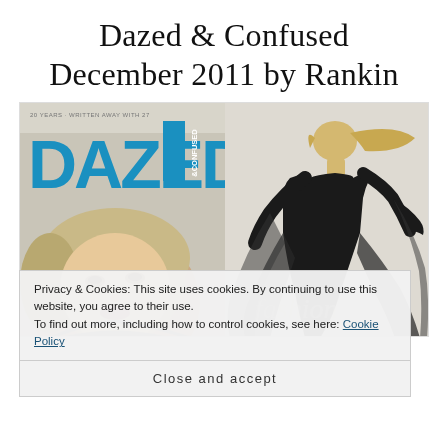Dazed & Confused December 2011 by Rankin
[Figure (photo): Two-panel image: left panel shows the Dazed & Confused magazine December 2011 cover featuring a close-up of a blonde woman's face with 'DAZED' in large blue letters; right panel shows a full-length model in a flowing black dress against a light background.]
Privacy & Cookies: This site uses cookies. By continuing to use this website, you agree to their use.
To find out more, including how to control cookies, see here: Cookie Policy
Close and accept